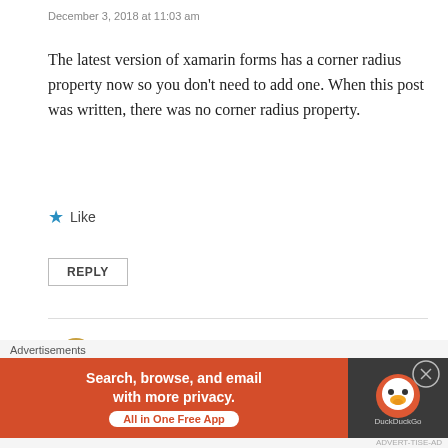December 3, 2018 at 11:03 am
The latest version of xamarin forms has a corner radius property now so you don’t need to add one. When this post was written, there was no corner radius property.
★ Like
REPLY
Alfonso Monestel
December 17, 2018 at 2:20 pm
Could you post the class where UWP implementation is implemented?
Advertisements
Search, browse, and email with more privacy. All in One Free App
DuckDuckGo